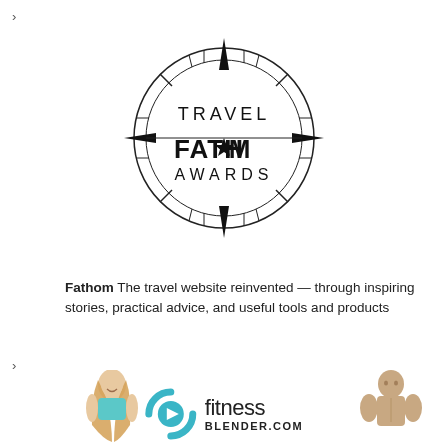[Figure (logo): Travel Fathom Awards compass logo with the word TRAVEL at top, FATH*M in bold center, AWARDS below, surrounded by a compass rose circle with cardinal direction points]
Fathom The travel website reinvented — through inspiring stories, practical advice, and useful tools and products
[Figure (logo): Fitness Blender logo with teal circular icon featuring a play button and two curved arcs, alongside the text 'fitness BLENDER.COM', flanked by images of a woman in athletic wear on the left and a shirtless man on the right]